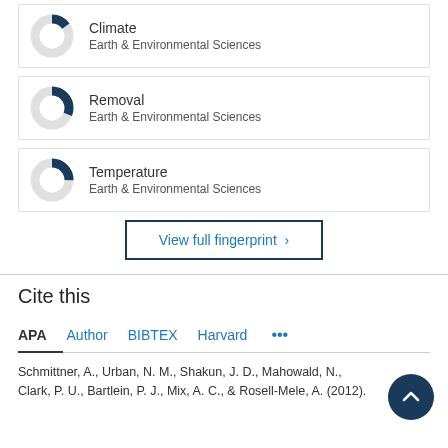[Figure (donut-chart): Donut chart for Climate, Earth & Environmental Sciences, approximately 40% filled navy]
Climate
Earth & Environmental Sciences
[Figure (donut-chart): Donut chart for Removal, Earth & Environmental Sciences, approximately 55% filled navy]
Removal
Earth & Environmental Sciences
[Figure (donut-chart): Donut chart for Temperature, Earth & Environmental Sciences, approximately 50% filled navy]
Temperature
Earth & Environmental Sciences
View full fingerprint >
Cite this
APA  Author  BIBTEX  Harvard  ...
Schmittner, A., Urban, N. M., Shakun, J. D., Mahowald, N., Clark, P. U., Bartlein, P. J., Mix, A. C., & Rosell-Mele, A. (2012).